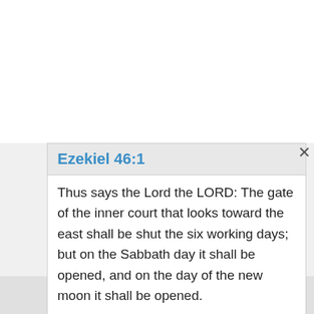Ezekiel 46:1
Thus says the Lord the LORD: The gate of the inner court that looks toward the east shall be shut the six working days; but on the Sabbath day it shall be opened, and on the day of the new moon it shall be opened.
Ezra 1:1
Now in the first year of Cyrus king of Persia, that the word of the LORD by the mouth of Jeremiah
Previous   Forward